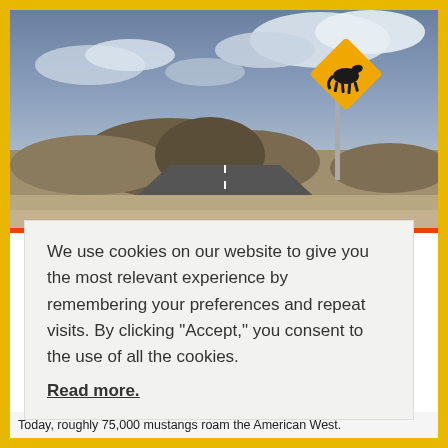[Figure (photo): Desert highway scene with rocky hills, dramatic cloudy sky, and a yellow diamond-shaped horse crossing warning sign on the right side of the road.]
We use cookies on our website to give you the most relevant experience by remembering your preferences and repeat visits. By clicking “Accept,” you consent to the use of all the cookies. Read more.
Today, roughly 75,000 mustangs roam the American West.